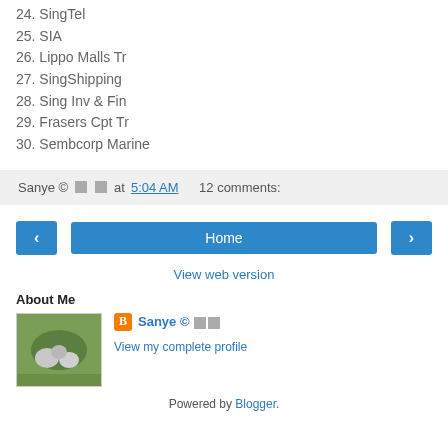24. SingTel
25. SIA
26. Lippo Malls Tr
27. SingShipping
28. Sing Inv & Fin
29. Frasers Cpt Tr
30. Sembcorp Marine
Sanye © □□ at 5:04 AM   12 comments:
< Home >
View web version
About Me
Sanye © □□
View my complete profile
Powered by Blogger.